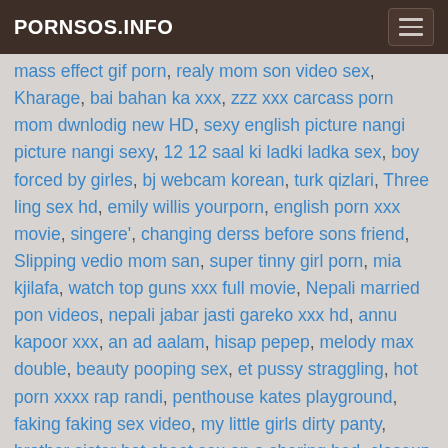PORNSOS.INFO
mass effect gif porn, realy mom son video sex, Kharage, bai bahan ka xxx, zzz xxx carcass porn mom dwnlodig new HD, sexy english picture nangi picture nangi sexy, 12 12 saal ki ladki ladka sex, boy forced by girles, bj webcam korean, turk qizlari, Three ling sex hd, emily willis yourporn, english porn xxx movie, singere', changing derss before sons friend, Slipping vedio mom san, super tinny girl porn, mia kjilafa, watch top guns xxx full movie, Nepali married pon videos, nepali jabar jasti gareko xxx hd, annu kapoor xxx, an ad aalam, hisap pepep, melody max double, beauty pooping sex, et pussy straggling, hot porn xxxx rap randi, penthouse kates playground, faking faking sex video, my little girls dirty panty, brother sister hot cheat sex on a shering bed, closeup spreading czech smooth twat, fucking in stilettos, www usa porn com, charlotte oldspunkers 5, tamil sex story tamil sex story, behind the